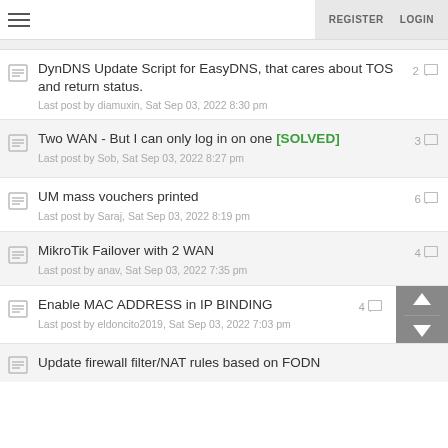≡  REGISTER  LOGIN
DynDNS Update Script for EasyDNS, that cares about TOS and return status.
Last post by diamuxin, Sat Sep 03, 2022 8:30 pm  2
Two WAN - But I can only log in on one [SOLVED]
Last post by Sob, Sat Sep 03, 2022 8:27 pm  3
UM mass vouchers printed
Last post by Saraj, Sat Sep 03, 2022 8:19 pm  6
MikroTik Failover with 2 WAN
Last post by anav, Sat Sep 03, 2022 7:35 pm  4
Enable MAC ADDRESS in IP BINDING
Last post by eldoncito2019, Sat Sep 03, 2022 7:03 pm  4
Update firewall filter/NAT rules based on FODN